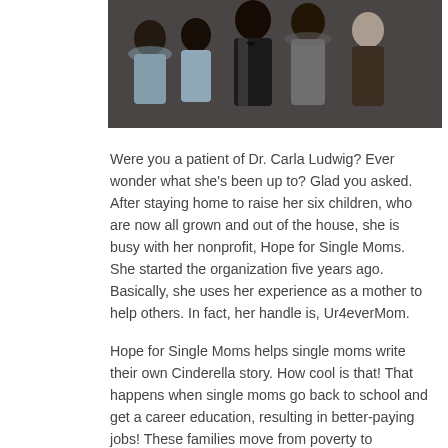[Figure (photo): Group photo of several people including children dressed in formal attire, appearing to be at a formal event or portrait session.]
Were you a patient of Dr. Carla Ludwig? Ever wonder what she's been up to? Glad you asked. After staying home to raise her six children, who are now all grown and out of the house, she is busy with her nonprofit, Hope for Single Moms. She started the organization five years ago. Basically, she uses her experience as a mother to help others. In fact, her handle is, Ur4everMom.
Hope for Single Moms helps single moms write their own Cinderella story. How cool is that! That happens when single moms go back to school and get a career education, resulting in better-paying jobs! These families move from poverty to prosperity (from rags to riches) with this “teach-a-woman-to-fish” approach.